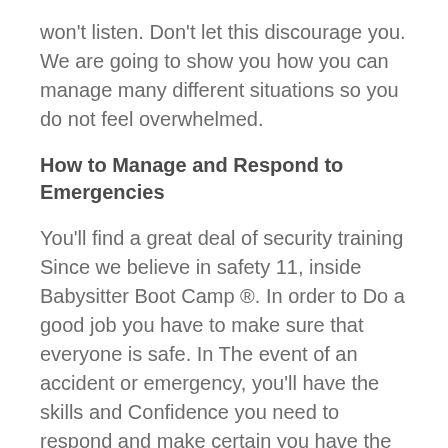won't listen. Don't let this discourage you. We are going to show you how you can manage many different situations so you do not feel overwhelmed.
How to Manage and Respond to Emergencies
You'll find a great deal of security training Since we believe in safety 11, inside Babysitter Boot Camp ®. In order to Do a good job you have to make sure that everyone is safe. In The event of an accident or emergency, you'll have the skills and Confidence you need to respond and make certain you have the help you need.